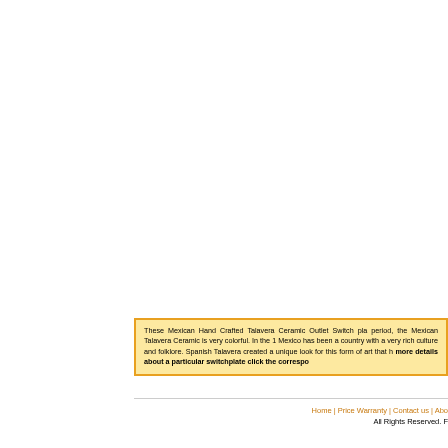These Mexican Hand Crafted Talavera Ceramic Outlet Switch pla period, the Mexican Talavera Ceramic is very colorful. In the 1 Mexico has been a country with a very rich culture and folklore. Spanish Talavera created a unique look for this form of art that h more details about a particular switchplate click the correspo
Home | Price Warranty | Contact us | Abo All Rights Reserved. F